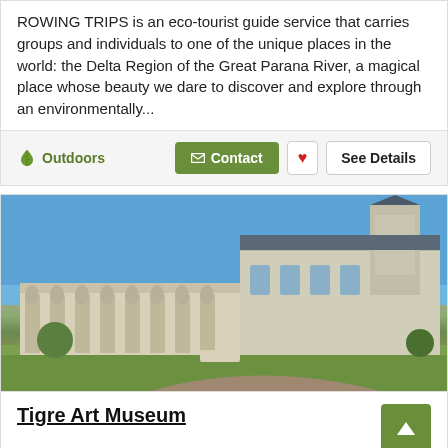ROWING TRIPS is an eco-tourist guide service that carries groups and individuals to one of the unique places in the world: the Delta Region of the Great Parana River, a magical place whose beauty we dare to discover and explore through an environmentally...
Outdoors
[Figure (photo): Photograph of the Tigre Art Museum building: a grand white colonial-style structure with arches and a ornate tower, set against a blue sky with green lawns in the foreground]
Tigre Art Museum
Place of Interest in Tigre City
Next to the municipality, the Tigre Art Museum, housed in the old